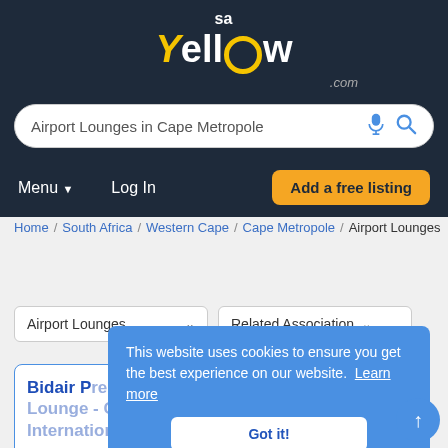sa Yellow .com
Airport Lounges in Cape Metropole
Menu  Log In  Add a free listing
Home / South Africa / Western Cape / Cape Metropole / Airport Lounges
Airport Lounges  Related Association
This website uses cookies to ensure you get the best experience on our website. Learn more
Got it!
Bidair Premier Lounge - Cape Town International
Northern Suburbs, Cape Town, Cape Metropole, Western Cape, South Africa